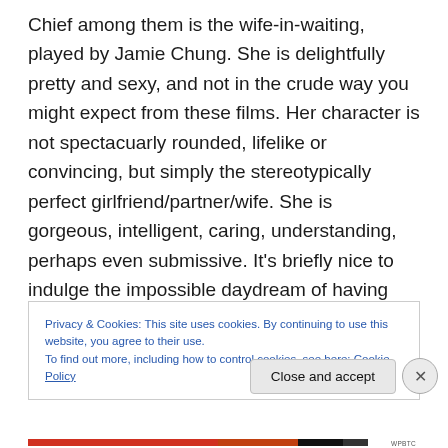Chief among them is the wife-in-waiting, played by Jamie Chung. She is delightfully pretty and sexy, and not in the crude way you might expect from these films. Her character is not spectacuarly rounded, lifelike or convincing, but simply the stereotypically perfect girlfriend/partner/wife. She is gorgeous, intelligent, caring, understanding, perhaps even submissive. It's briefly nice to indulge the impossible daydream of having such a devoted soul mate.
Privacy & Cookies: This site uses cookies. By continuing to use this website, you agree to their use.
To find out more, including how to control cookies, see here: Cookie Policy